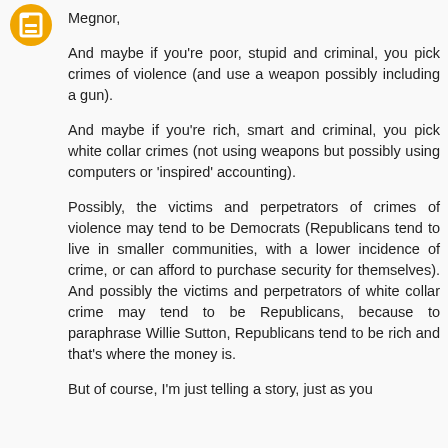[Figure (logo): Orange circular Blogger logo avatar icon]
Megnor,
And maybe if you're poor, stupid and criminal, you pick crimes of violence (and use a weapon possibly including a gun).
And maybe if you're rich, smart and criminal, you pick white collar crimes (not using weapons but possibly using computers or 'inspired' accounting).
Possibly, the victims and perpetrators of crimes of violence may tend to be Democrats (Republicans tend to live in smaller communities, with a lower incidence of crime, or can afford to purchase security for themselves). And possibly the victims and perpetrators of white collar crime may tend to be Republicans, because to paraphrase Willie Sutton, Republicans tend to be rich and that's where the money is.
But of course, I'm just telling a story, just as you